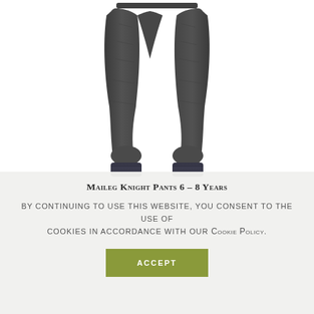[Figure (photo): Product photo of dark gray knit pants (Maileg Knight Pants 6-8 Years) shown hanging against a white background, displaying both legs with ribbed cuffs at the bottom.]
Maileg Knight Pants 6 – 8 Years
By continuing to use this website, you consent to the use of cookies in accordance with our Cookie Policy.
ACCEPT